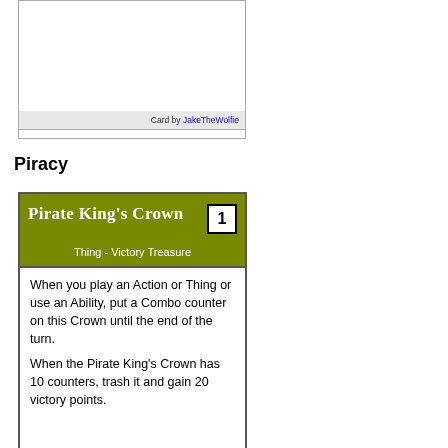[Figure (other): Top portion of a card with a white image area and a light gray footer bar showing 'Card by JakeTheWolfie' with the name as a hyperlink.]
Piracy
[Figure (other): Game card titled 'Pirate King's Crown' with cost 1, subtype 'Thing - Victory Treasure', and card text: 'When you play an Action or Thing or use an Ability, put a Combo counter on this Crown until the end of the turn. When the Pirate King's Crown has 10 counters, trash it and gain 20 victory points.']